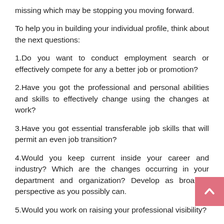missing which may be stopping you moving forward.
To help you in building your individual profile, think about the next questions:
1.Do you want to conduct employment search or effectively compete for any a better job or promotion?
2.Have you got the professional and personal abilities and skills to effectively change using the changes at work?
3.Have you got essential transferable job skills that will permit an even job transition?
4.Would you keep current inside your career and industry? Which are the changes occurring in your department and organization? Develop as broad a perspective as you possibly can.
5.Would you work on raising your professional visibility?